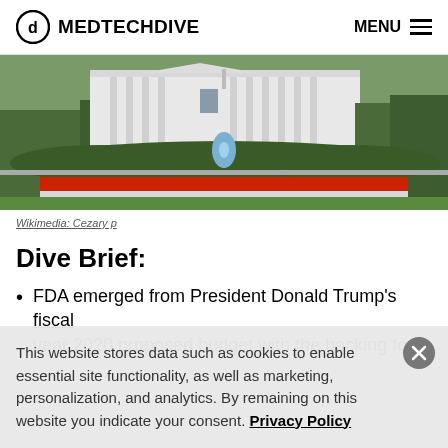MEDTECHDIVE — MENU
[Figure (photo): Photo of the White House with red flower gardens, fountain, and trees]
Wikimedia: Cezary p
Dive Brief:
FDA emerged from President Donald Trump's fiscal year 2020 proposed budget with the backing for a
This website stores data such as cookies to enable essential site functionality, as well as marketing, personalization, and analytics. By remaining on this website you indicate your consent. Privacy Policy